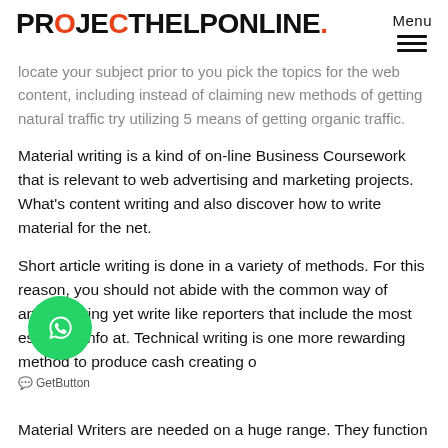PROJECTHELPONLINE. Menu
locate your subject prior to you pick the topics for the web content, including instead of claiming new methods of getting natural traffic try utilizing 5 means of getting organic traffic.
Material writing is a kind of on-line Business Coursework that is relevant to web advertising and marketing projects. What's content writing and also discover how to write material for the net.
Short article writing is done in a variety of methods. For this reason, you should not abide with the common way of article writing yet write like reporters that include the most essential info at. Technical writing is one more rewarding method to produce cash creating o
Material Writers are needed on a huge range. They function